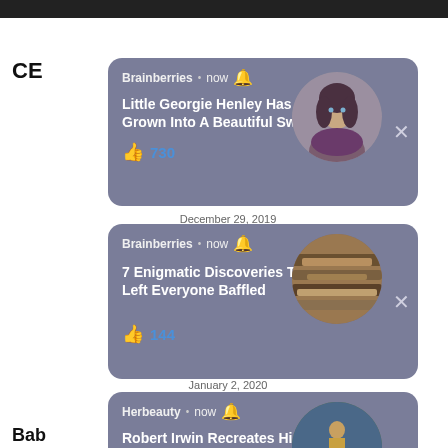CE
[Figure (screenshot): Facebook notification card 1: Brainberries - Little Georgie Henley Has Grown Into A Beautiful Swan! 730 likes. Circular photo of a young woman with dark hair and purple scarf.]
December 29, 2019
[Figure (screenshot): Facebook notification card 2: Brainberries - 7 Enigmatic Discoveries That Left Everyone Baffled. 144 likes. Circular photo of rocks/wood texture.]
January 2, 2020
[Figure (screenshot): Facebook notification card 3: Herbeauty - Robert Irwin Recreates His Father's Iconic Photos. 810 likes. Circular photo of person with crocodile at outdoor event.]
Bab